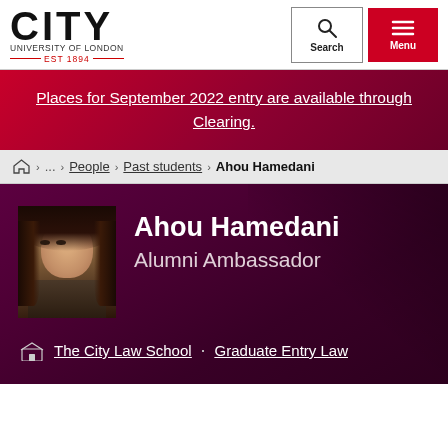CITY UNIVERSITY OF LONDON EST 1894 | Search | Menu
Places for September 2022 entry are available through Clearing.
Home > ... > People > Past students > Ahou Hamedani
[Figure (photo): Profile photo of Ahou Hamedani, a young woman with long dark hair]
Ahou Hamedani
Alumni Ambassador
The City Law School · Graduate Entry Law